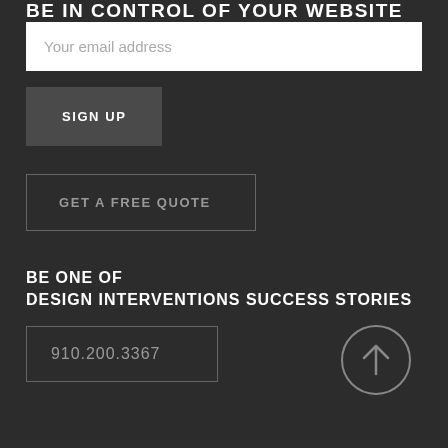BE IN CONTROL OF YOUR WEBSITE
Your email address
SIGN UP
GET A FREE QUOTE
BE ONE OF
DESIGN INTERVENTIONS SUCCESS STORIES
910.200.3367
[Figure (illustration): Circle with upward arrow icon]